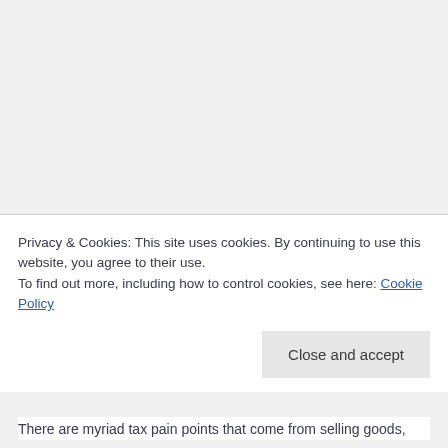Privacy & Cookies: This site uses cookies. By continuing to use this website, you agree to their use.
To find out more, including how to control cookies, see here: Cookie Policy
Close and accept
There are myriad tax pain points that come from selling goods,